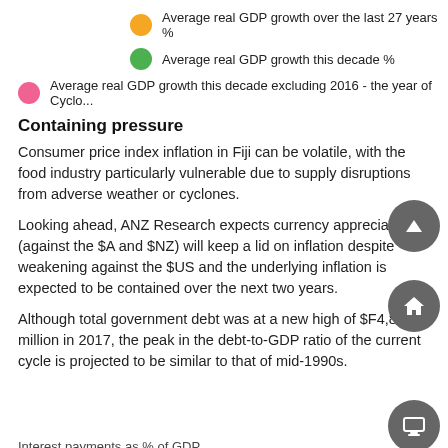Average real GDP growth over the last 27 years %
Average real GDP growth this decade %
Average real GDP growth this decade excluding 2016 - the year of Cyclo...
Containing pressure
Consumer price index inflation in Fiji can be volatile, with the food industry particularly vulnerable due to supply disruptions from adverse weather or cyclones.
Looking ahead, ANZ Research expects currency appreciation (against the $A and $NZ) will keep a lid on inflation despite weakening against the $US and the underlying inflation is expected to be contained over the next two years.
Although total government debt was at a new high of $F4,853 million in 2017, the peak in the debt-to-GDP ratio of the current cycle is projected to be similar to that of mid-1990s.
Interest payments as % of GDP